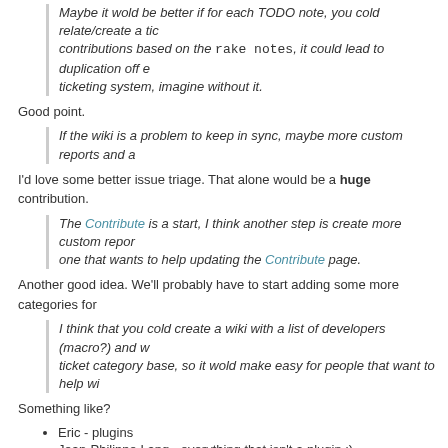Maybe it wold be better if for each TODO note, you cold relate/create a ti... contributions based on the rake notes, it could lead to duplication off e... ticketing system, imagine without it.
Good point.
If the wiki is a problem to keep in sync, maybe more custom reports and a...
I'd love some better issue triage. That alone would be a huge contribution.
The Contribute is a start, I think another step is create more custom repor... one that wants to help updating the Contribute page.
Another good idea. We'll probably have to start adding some more categories for...
I think that you cold create a wiki with a list of developers (macro?) and w... ticket category base, so it wold make easy for people that want to help wi...
Something like?
Eric - plugins
Jean-Philippe Lang - everything that isn't a plugin :)
Am I getting out of the topic ?
Not at all, this is the exact conversation I want to have. I don't mind spending son...
Eric
RE: How to contribute - Added by Enderson Maia over 13 years ago
Eric Davis wrote: